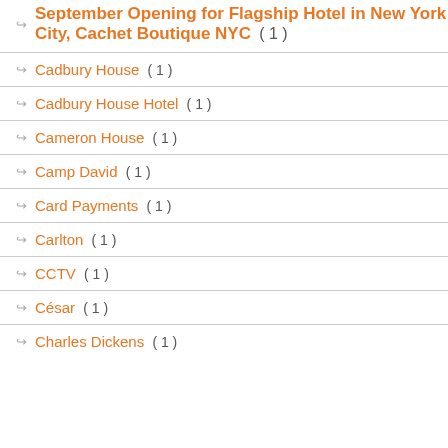September Opening for Flagship Hotel in New York City, Cachet Boutique NYC ( 1 )
Cadbury House ( 1 )
Cadbury House Hotel ( 1 )
Cameron House ( 1 )
Camp David ( 1 )
Card Payments ( 1 )
Carlton ( 1 )
CCTV ( 1 )
César ( 1 )
Charles Dickens ( 1 )